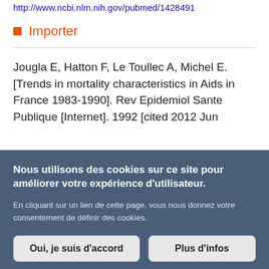http://www.ncbi.nlm.nih.gov/pubmed/1428491
Importer
Jougla E, Hatton F, Le Toullec A, Michel E. [Trends in mortality characteristics in Aids in France 1983-1990]. Rev Epidemiol Sante Publique [Internet]. 1992 [cited 2012 Jun
Nous utilisons des cookies sur ce site pour améliorer votre expérience d'utilisateur.

En cliquant sur un lien de cette page, vous nous donnez votre consentement de définir des cookies.

Oui, je suis d'accord    Plus d'infos
[Figure (infographic): Social media footer bar with LinkedIn (blue), Twitter (light blue), and Facebook (dark blue) icons]